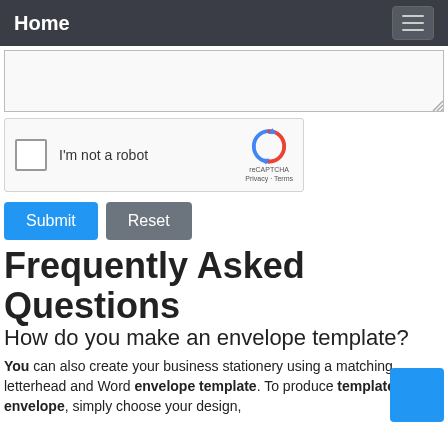Home
[Figure (screenshot): Text area input field with resize handle]
[Figure (screenshot): reCAPTCHA widget with checkbox labeled 'I'm not a robot']
Submit  Reset
Frequently Asked Questions
How do you make an envelope template?
You can also create your business stationery using a matching letterhead and Word envelope template. To produce templates for envelope, simply choose your design,